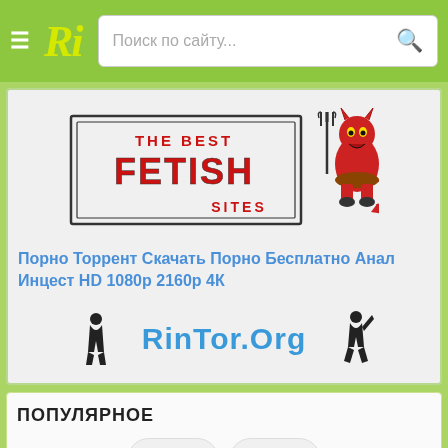Ri — Поиск по сайту...
[Figure (logo): The Best Fetish Sites logo with devil mascot holding a trident]
Порно Торрент Скачать Порно Бесплатно Анал Инцест HD 1080р 2160р 4К
[Figure (logo): RinTor.Org logo with silhouette figures on either side]
ПОПУЛЯРНОЕ
[Figure (photo): Navigation buttons left and right arrows, and a movie thumbnail showing BANG! presents BUSHLESS text on red background]